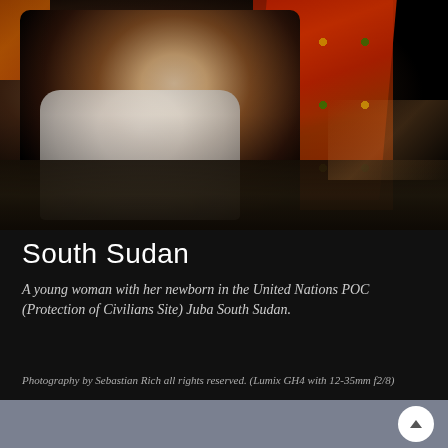[Figure (photo): A young woman in a white dress sitting on a bed, holding a newborn, inside a dark room with colorful red and orange patterned fabric in the background. Shot in low-light documentary style at a UN Protection of Civilians Site in Juba, South Sudan.]
South Sudan
A young woman with her newborn in the United Nations POC (Protection of Civilians Site) Juba South Sudan.
Photography by Sebastian Rich all rights reserved. (Lumix GH4 with 12-35mm f2/8)